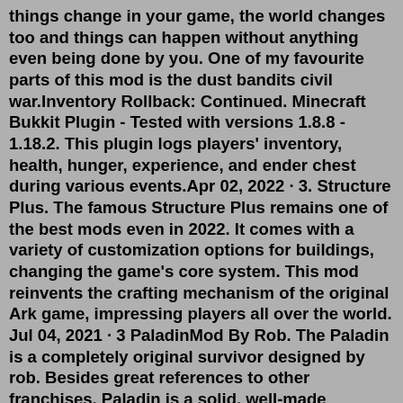things change in your game, the world changes too and things can happen without anything even being done by you. One of my favourite parts of this mod is the dust bandits civil war.Inventory Rollback: Continued. Minecraft Bukkit Plugin - Tested with versions 1.8.8 - 1.18.2. This plugin logs players' inventory, health, hunger, experience, and ender chest during various events.Apr 02, 2022 · 3. Structure Plus. The famous Structure Plus remains one of the best mods even in 2022. It comes with a variety of customization options for buildings, changing the game's core system. This mod reinvents the crafting mechanism of the original Ark game, impressing players all over the world. Jul 04, 2021 · 3 PaladinMod By Rob. The Paladin is a completely original survivor designed by rob. Besides great references to other franchises, Paladin is a solid, well-made survivor. It has good-looking skins and fun gameplay that consists of slashing foes and casting holy spells. Overpowered Inventory Mod cho phép người chơi truy cập lên tới 275 slot bao gồm các slot